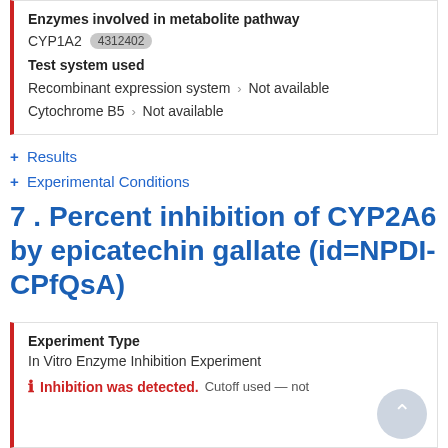Enzymes involved in metabolite pathway
CYP1A2  4312402
Test system used
Recombinant expression system > Not available
Cytochrome B5 > Not available
+ Results
+ Experimental Conditions
7 . Percent inhibition of CYP2A6 by epicatechin gallate (id=NPDI-CPfQsA)
Experiment Type
In Vitro Enzyme Inhibition Experiment
ⓘ Inhibition was detected.  Cutoff used — not